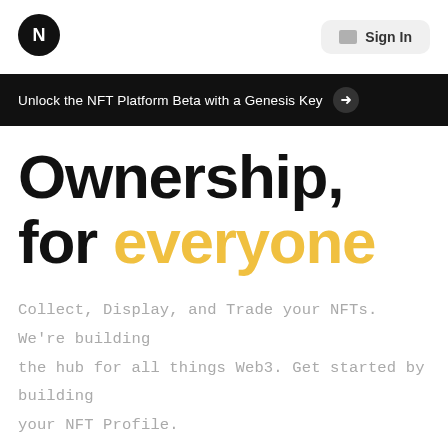[Figure (logo): Circular black logo with a stylized N/arrow icon in white]
Sign In
Unlock the NFT Platform Beta with a Genesis Key →
Ownership, for everyone
Collect, Display, and Trade your NFTs. We're building the hub for all things Web3. Get started by building your NFT Profile.